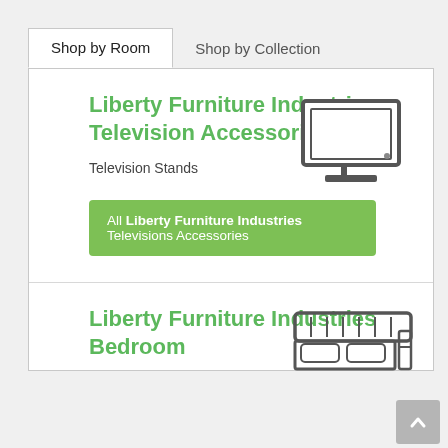Shop by Room | Shop by Collection
Liberty Furniture Industries Television Accessories
[Figure (illustration): Icon of a flat-screen television monitor, gray outline style]
Television Stands
All Liberty Furniture Industries Televisions Accessories
Liberty Furniture Industries Bedroom
[Figure (illustration): Icon of a bed/headboard furniture, gray outline style]